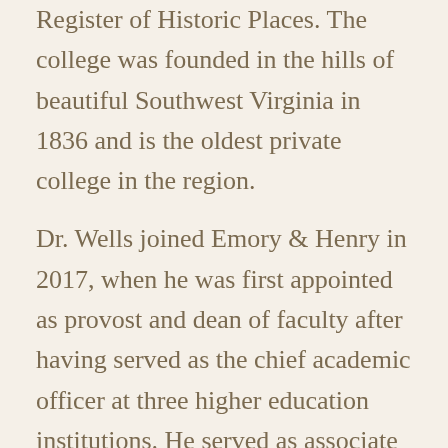Register of Historic Places. The college was founded in the hills of beautiful Southwest Virginia in 1836 and is the oldest private college in the region.
Dr. Wells joined Emory & Henry in 2017, when he was first appointed as provost and dean of faculty after having served as the chief academic officer at three higher education institutions. He served as associate general secretary for the General Board of Higher Education and Ministry of the worldwide United Methodist Church and as executive secretary of the National Association of Schools and Colleges of the United Methodist Church.